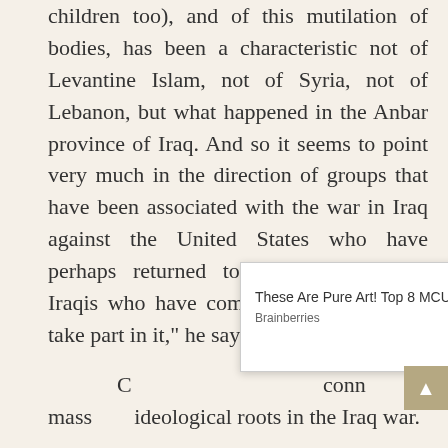children too), and of this mutilation of bodies, has been a characteristic not of Levantine Islam, not of Syria, not of Lebanon, but what happened in the Anbar province of Iraq. And so it seems to point very much in the direction of groups that have been associated with the war in Iraq against the United States who have perhaps returned to Syria, or perhaps Iraqis who have come up from Anbar to take part in it," he says.
C[onnections to the] mass[acre have] ideological roots in the Iraq war.
[Figure (screenshot): Ad overlay: 'These Are Pure Art! Top 8 MCU Scenes' by Brainberries, with PurpleAds branding and a close (×) button]